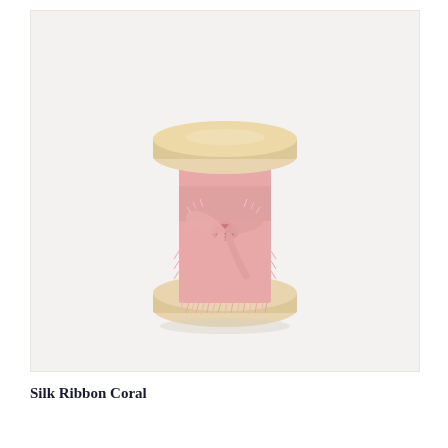[Figure (photo): A wooden thread spool with pink/coral frayed silk ribbon wound around it and tied in a bow, photographed on a light grey-white background.]
Silk Ribbon Coral